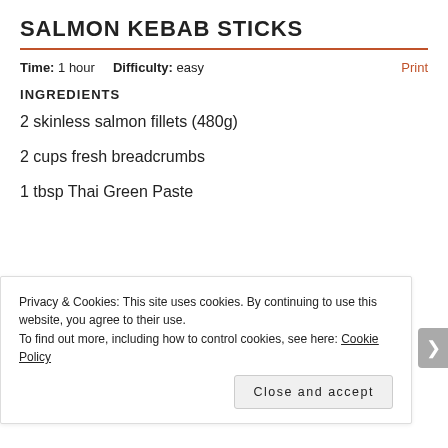SALMON KEBAB STICKS
Time: 1 hour   Difficulty: easy   Print
INGREDIENTS
2 skinless salmon fillets (480g)
2 cups fresh breadcrumbs
1 tbsp Thai Green Paste
Privacy & Cookies: This site uses cookies. By continuing to use this website, you agree to their use.
To find out more, including how to control cookies, see here: Cookie Policy
Close and accept